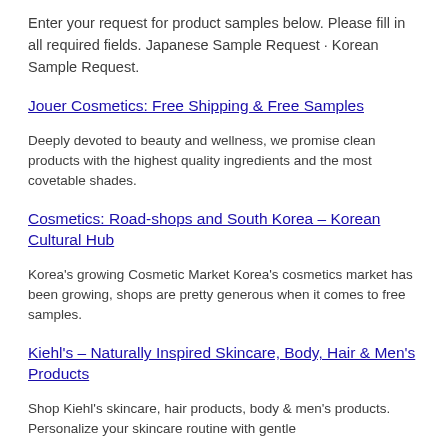Enter your request for product samples below. Please fill in all required fields. Japanese Sample Request · Korean Sample Request.
Jouer Cosmetics: Free Shipping & Free Samples
Deeply devoted to beauty and wellness, we promise clean products with the highest quality ingredients and the most covetable shades.
Cosmetics: Road-shops and South Korea – Korean Cultural Hub
Korea's growing Cosmetic Market Korea's cosmetics market has been growing, shops are pretty generous when it comes to free samples.
Kiehl's – Naturally Inspired Skincare, Body, Hair & Men's Products
Shop Kiehl's skincare, hair products, body & men's products. Personalize your skincare routine with gentle